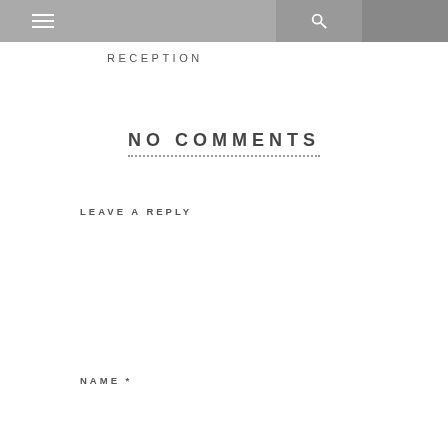RECEPTION
NO COMMENTS
LEAVE A REPLY
[comment text area]
NAME *
[name input field]